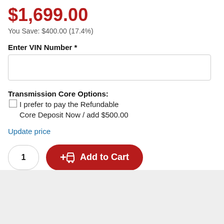$1,699.00
You Save: $400.00 (17.4%)
Enter VIN Number *
Transmission Core Options: I prefer to pay the Refundable Core Deposit Now / add $500.00
Update price
1
+ Add to Cart
Save For Later